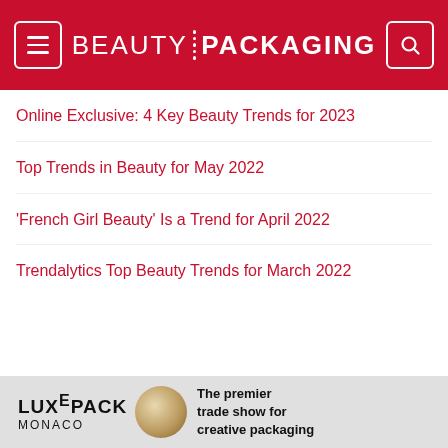BEAUTY PACKAGING
Online Exclusive: 4 Key Beauty Trends for 2023
Top Trends in Beauty for May 2022
'French Girl Beauty' Is a Trend for April 2022
Trendalytics Top Beauty Trends for March 2022
[Figure (logo): Luxe Pack Monaco advertisement banner with gold sphere and text 'The premier trade show for creative packaging']